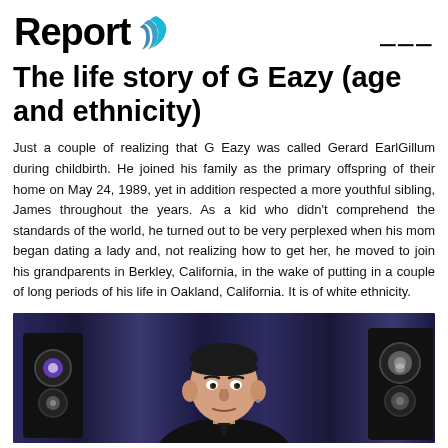Report
The life story of G Eazy (age and ethnicity)
Just a couple of realizing that G Eazy was called Gerard EarlGillum during childbirth. He joined his family as the primary offspring of their home on May 24, 1989, yet in addition respected a more youthful sibling, James throughout the years. As a kid who didn't comprehend the standards of the world, he turned out to be very perplexed when his mom began dating a lady and, not realizing how to get her, he moved to join his grandparents in Berkley, California, in the wake of putting in a couple of long periods of his life in Oakland, California. It is of white ethnicity.
[Figure (photo): Photo of G Eazy, a man with dark hair slicked back, wearing a dark jacket, seated near speaker equipment with purple/blue lighting in background]